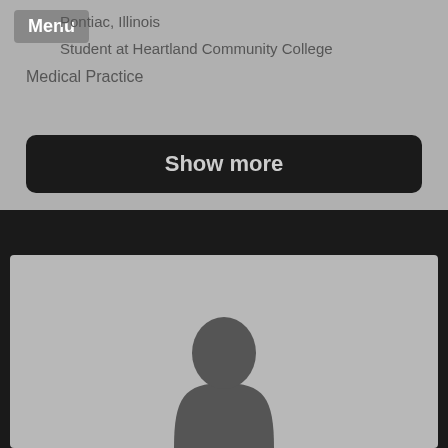Pontiac, Illinois
Student at Heartland Community College
Medical Practice
Show more
[Figure (photo): User profile silhouette placeholder image showing a gray background with a dark gray person silhouette icon]